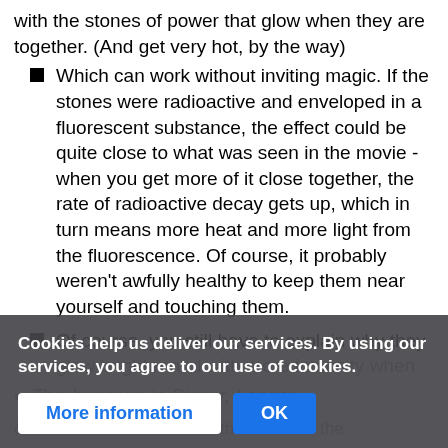with the stones of power that glow when they are together. (And get very hot, by the way)
Which can work without inviting magic. If the stones were radioactive and enveloped in a fluorescent substance, the effect could be quite close to what was seen in the movie - when you get more of it close together, the rate of radioactive decay gets up, which in turn means more heat and more light from the fluorescence. Of course, it probably weren't awfully healthy to keep them near yourself and touching them.
Of course, you still have to explain why they glow brighter and with more intensity when
This happens in Bigger, Longer
& I must seen be, because the nature of the
Cookies help us deliver our services. By using our services, you agree to our use of cookies.